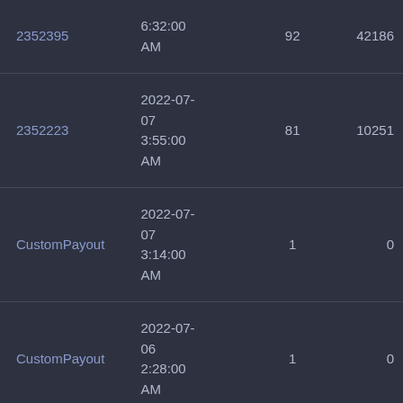| 2352395 | 6:32:00 AM | 92 | 42186 |
| 2352223 | 2022-07-07 3:55:00 AM | 81 | 10251 |
| CustomPayout | 2022-07-07 3:14:00 AM | 1 | 0 |
| CustomPayout | 2022-07-06 2:28:00 AM | 1 | 0 |
|  | 2022-07- |  |  |